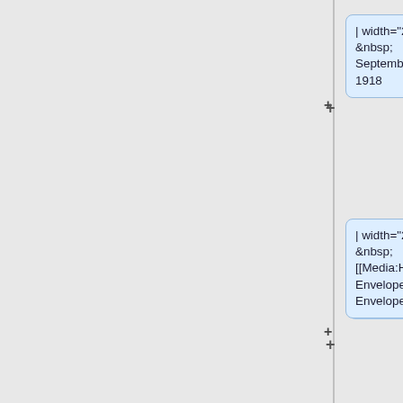| width="25%" | &nbsp; September 27, 1918
| width="25%" | &nbsp; [[Media:HWhiteEnvelope4.png|Envelope 4]]
| width="25%" | &nbsp; [[Media:HWhiteScan4.pdf|Letter 4 (image)]]
| width="25%" | &nbsp; [[Media:HWhiteTrans4.pdf|Letter 4 (text)]]